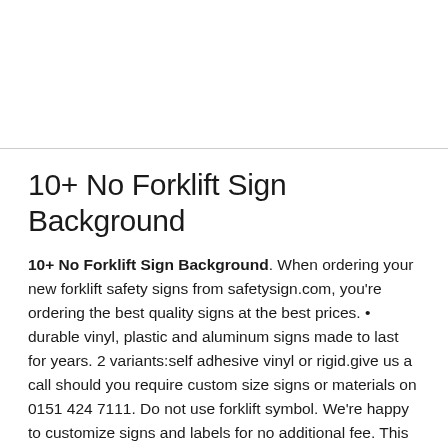10+ No Forklift Sign Background
10+ No Forklift Sign Background. When ordering your new forklift safety signs from safetysign.com, you're ordering the best quality signs at the best prices. • durable vinyl, plastic and aluminum signs made to last for years. 2 variants:self adhesive vinyl or rigid.give us a call should you require custom size signs or materials on 0151 424 7111. Do not use forklift symbol. We're happy to customize signs and labels for no additional fee. This sign is an easy way to identify areas where forklifts are not allowed. • durable vinyl, plastic and aluminum signs made to last for years. Place a sign as a reminder to